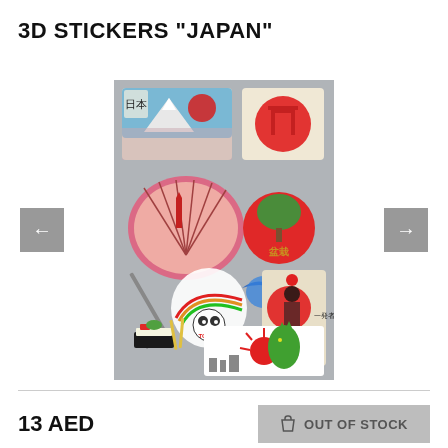3D STICKERS "JAPAN"
[Figure (photo): Product photo of Japan-themed 3D stickers sheet showing various Japanese icons: Mt. Fuji with cherry blossoms, torii gate, folding fan, bonsai tree, samurai sword, kawaii characters with rainbow, geisha silhouette, sushi, Godzilla on rising sun background]
13 AED
OUT OF STOCK